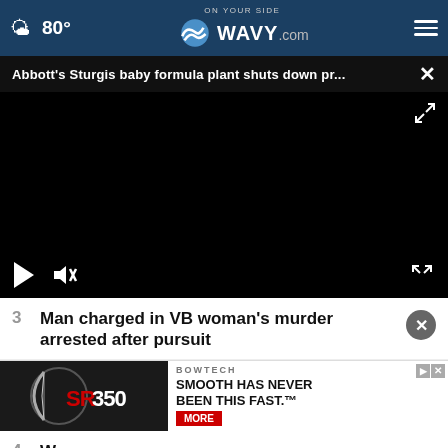80° WAVY.com On Your Side
Abbott's Sturgis baby formula plant shuts down pr... ×
[Figure (screenshot): Black video player area with playback controls (play button, mute button, fullscreen button) at the bottom]
3  Man charged in VB woman's murder arrested after pursuit
[Figure (photo): Bowtech SR350 advertisement banner with compound bow image and text SMOOTH HAS NEVER BEEN THIS FAST. MORE]
4  W... d...